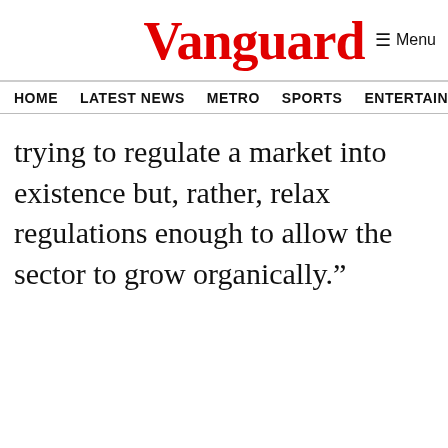Vanguard
HOME  LATEST NEWS  METRO  SPORTS  ENTERTAINMENT  VIDEOS
trying to regulate a market into existence but, rather, relax regulations enough to allow the sector to grow organically.”